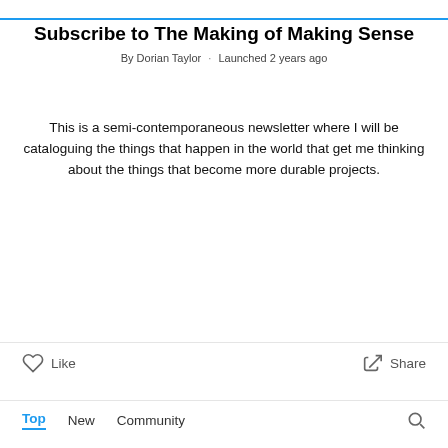Subscribe to The Making of Making Sense
By Dorian Taylor · Launched 2 years ago
This is a semi-contemporaneous newsletter where I will be cataloguing the things that happen in the world that get me thinking about the things that become more durable projects.
Type your email... Subscribe
Like   Share
Top   New   Community